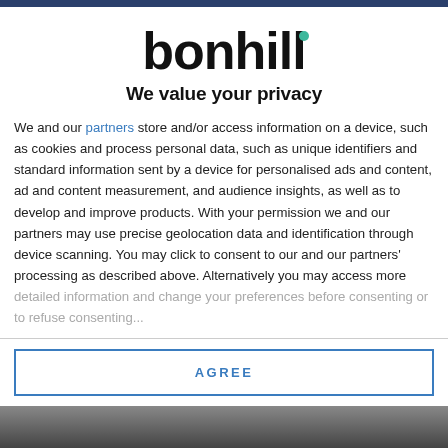[Figure (logo): Bonhill logo with teal dot accent above the letter i]
We value your privacy
We and our partners store and/or access information on a device, such as cookies and process personal data, such as unique identifiers and standard information sent by a device for personalised ads and content, ad and content measurement, and audience insights, as well as to develop and improve products. With your permission we and our partners may use precise geolocation data and identification through device scanning. You may click to consent to our and our partners' processing as described above. Alternatively you may access more detailed information and...
AGREE
MORE OPTIONS
[Figure (photo): Partial image at the bottom of the page, two side-by-side photo thumbnails, content unclear]